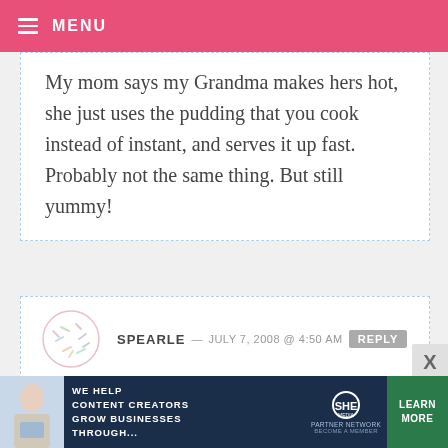MENU
My mom says my Grandma makes hers hot, she just uses the pudding that you cook instead of instant, and serves it up fast. Probably not the same thing. But still yummy!
SPEARLE — JULY 7, 2008 @ 4:50 AM  REPLY
When I make banana pudding I just make a sort of vanilla pudding pie filling (with flour, cornstarch, three eggs, whole milk, and high-quality
[Figure (other): SHE Partner Network advertisement banner with photo of woman at laptop, text 'We help content creators grow businesses through...', SHE logo, and 'Learn More' button]